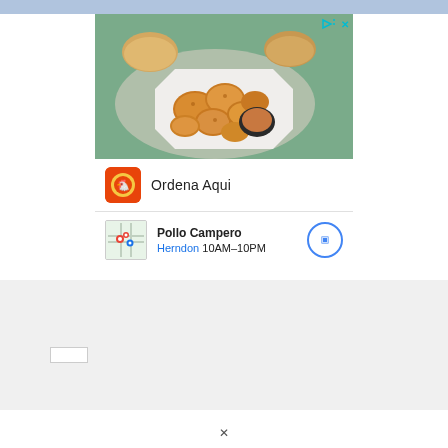[Figure (photo): Advertisement for Pollo Campero showing fried chicken pieces with dipping sauce on a white plate, with bread rolls in background. Ad includes brand logo, 'Ordena Aqui' text, and location info for Herndon 10AM-10PM.]
Ordena Aqui
Pollo Campero
Herndon 10AM–10PM